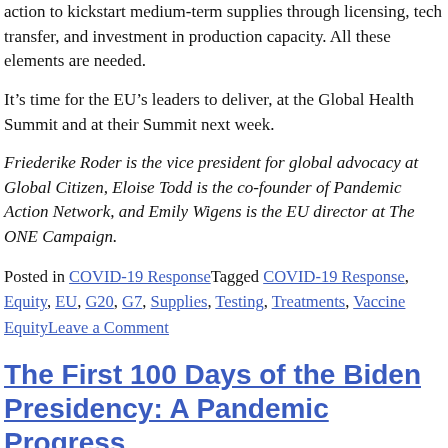action to kickstart medium-term supplies through licensing, tech transfer, and investment in production capacity. All these elements are needed.
It’s time for the EU’s leaders to deliver, at the Global Health Summit and at their Summit next week.
Friederike Roder is the vice president for global advocacy at Global Citizen, Eloise Todd is the co-founder of Pandemic Action Network, and Emily Wigens is the EU director at The ONE Campaign.
Posted in COVID-19 Response Tagged COVID-19 Response, Equity, EU, G20, G7, Supplies, Testing, Treatments, Vaccine Equity Leave a Comment
The First 100 Days of the Biden Presidency: A Pandemic Progress